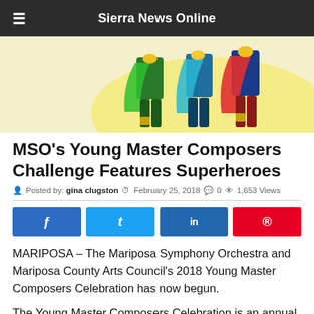Sierra News Online
[Figure (illustration): Colorful superhero illustration showing figures in capes from waist down, with bright greens, blues, reds, and yellows on a light yellow background.]
MSO's Young Master Composers Challenge Features Superheroes
Posted by: gina clugston  February 25, 2018  0  1,653 Views
MARIPOSA – The Mariposa Symphony Orchestra and Mariposa County Arts Council's 2018 Young Master Composers Celebration has now begun.
The Young Master Composers Celebration is an annual challenge to all Mariposa County residents